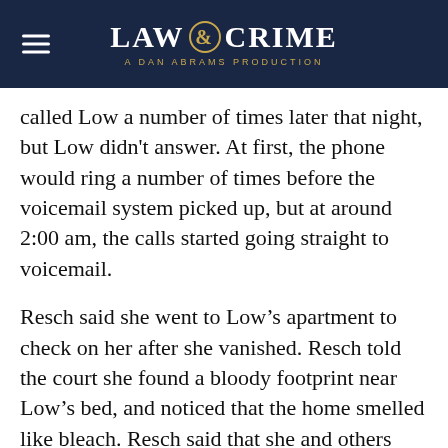LAW & CRIME — A DAN ABRAMS PRODUCTION
called Low a number of times later that night, but Low didn't answer. At first, the phone would ring a number of times before the voicemail system picked up, but at around 2:00 am, the calls started going straight to voicemail.
Resch said she went to Low's apartment to check on her after she vanished. Resch told the court she found a bloody footprint near Low's bed, and noticed that the home smelled like bleach. Resch said that she and others searched for Low, and when she noticed that a laundry basket and bleach were missing from her apartment, they checked a